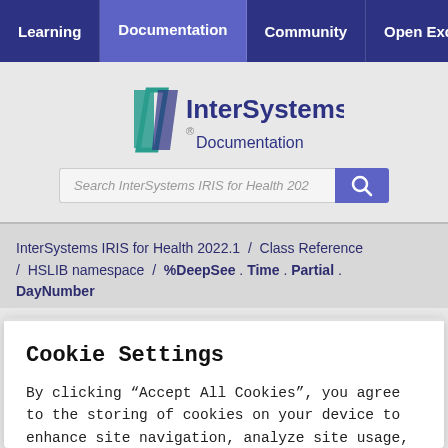Learning  Documentation  Community  Open Excha
[Figure (logo): InterSystems Documentation logo with teal/navy icon and text]
Search InterSystems IRIS for Health 202
InterSystems IRIS for Health 2022.1 / Class Reference / HSLIB namespace / %DeepSee . Time . Partial . DayNumber
Cookie Settings
By clicking “Accept All Cookies”, you agree to the storing of cookies on your device to enhance site navigation, analyze site usage, and assist in our marketing efforts.